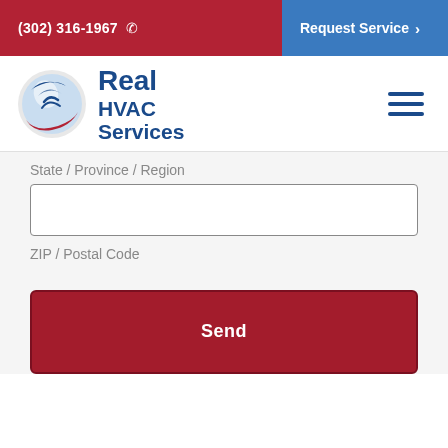(302) 316-1967  Request Service
[Figure (logo): Real HVAC Services logo with circular swoosh emblem in blue and red]
State / Province / Region
ZIP / Postal Code
Send